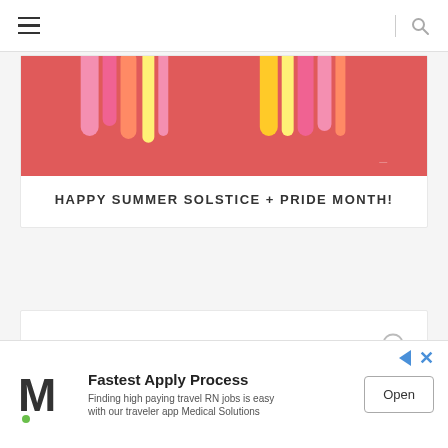Navigation header with hamburger menu and search icon
[Figure (illustration): Colorful popsicle/ice lolly sticks on a red/coral background — pink, orange, yellow, magenta colors]
HAPPY SUMMER SOLSTICE + PRIDE MONTH!
3 comments:
[Figure (screenshot): Advertisement banner: Medical Solutions logo (M with green dot), 'Fastest Apply Process', 'Finding high paying travel RN jobs is easy with our traveler app Medical Solutions', Open button]